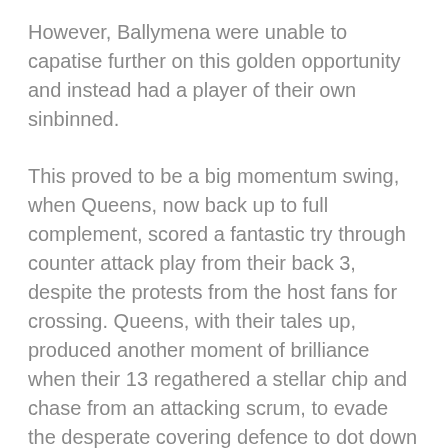However, Ballymena were unable to capatise further on this golden opportunity and instead had a player of their own sinbinned.
This proved to be a big momentum swing, when Queens, now back up to full complement, scored a fantastic try through counter attack play from their back 3, despite the protests from the host fans for crossing. Queens, with their tales up, produced another moment of brilliance when their 13 regathered a stellar chip and chase from an attacking scrum, to evade the desperate covering defence to dot down under the sticks. Conversion slotted, Queens took the lead for the first time, 12-11 with 10 minutes left on the clock.
Ballymena were determined to show their resilience and why they were such a force to be reckoned with, working their way up the pitch with some slick hands